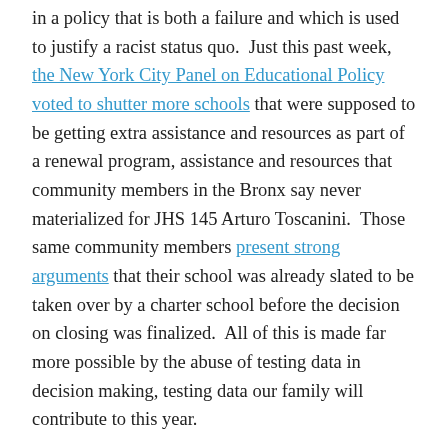in a policy that is both a failure and which is used to justify a racist status quo.  Just this past week, the New York City Panel on Educational Policy voted to shutter more schools that were supposed to be getting extra assistance and resources as part of a renewal program, assistance and resources that community members in the Bronx say never materialized for JHS 145 Arturo Toscanini.  Those same community members present strong arguments that their school was already slated to be taken over by a charter school before the decision on closing was finalized.  All of this is made far more possible by the abuse of testing data in decision making, testing data our family will contribute to this year.
It is hard to swallow, but perhaps it is also an opportunity for deeper and more incisive self